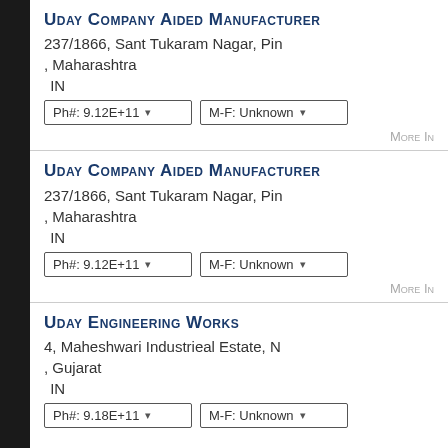Uday Company Aided Manufacturer
237/1866, Sant Tukaram Nagar, Pin
, Maharashtra
 IN
Ph#: 9.12E+11   M-F: Unknown
More In
Uday Company Aided Manufacturer
237/1866, Sant Tukaram Nagar, Pin
, Maharashtra
 IN
Ph#: 9.12E+11   M-F: Unknown
More In
Uday Engineering Works
4, Maheshwari Industrieal Estate, N
, Gujarat
 IN
Ph#: 9.18E+11   M-F: Unknown